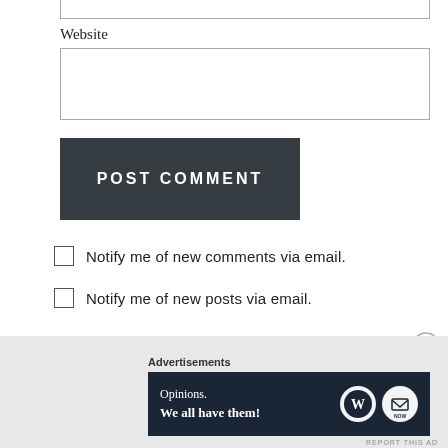Website
POST COMMENT
Notify me of new comments via email.
Notify me of new posts via email.
Advertisements
[Figure (other): WordPress advertisement banner with text 'Opinions. We all have them!' and WordPress and Subscribe logos on dark navy background]